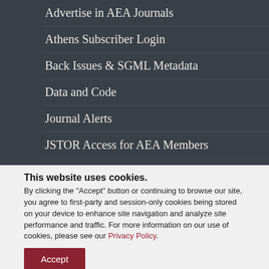Advertise in AEA Journals
Athens Subscriber Login
Back Issues & SGML Metadata
Data and Code
Journal Alerts
JSTOR Access for AEA Members
This website uses cookies.
By clicking the "Accept" button or continuing to browse our site, you agree to first-party and session-only cookies being stored on your device to enhance site navigation and analyze site performance and traffic. For more information on our use of cookies, please see our Privacy Policy.
Accept
Journals   Annual Meeting   Careers   Resources   Committees   Membership   About AEA